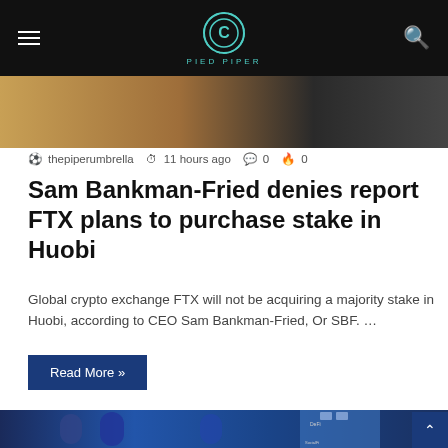Pied Piper
[Figure (photo): Partial hero image showing hands or objects with warm tones]
thepiperumbrella  11 hours ago  0  0
Sam Bankman-Fried denies report FTX plans to purchase stake in Huobi
Global crypto exchange FTX will not be acquiring a majority stake in Huobi, according to CEO Sam Bankman-Fried, Or SBF. …
Read More »
[Figure (photo): Street scene with cylindrical digital billboard screens displaying figures, and a blue glass building with DeFi and SocialFi signage]